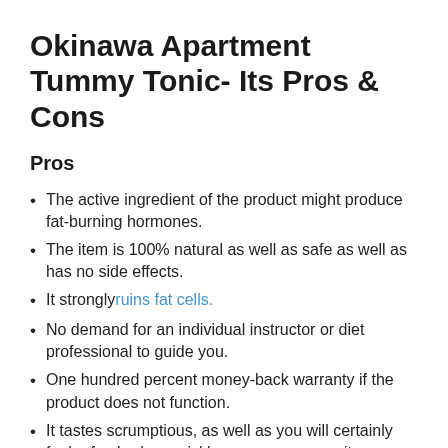Okinawa Apartment Tummy Tonic- Its Pros & Cons
Pros
The active ingredient of the product might produce fat-burning hormones.
The item is 100% natural as well as safe as well as has no side effects.
It stronglyruins fat cells.
No demand for an individual instructor or diet professional to guide you.
One hundred percent money-back warranty if the product does not function.
It tastes scrumptious, as well as you will certainly feel refreshed as quickly as you consume it.
Offered at a sensible cost.